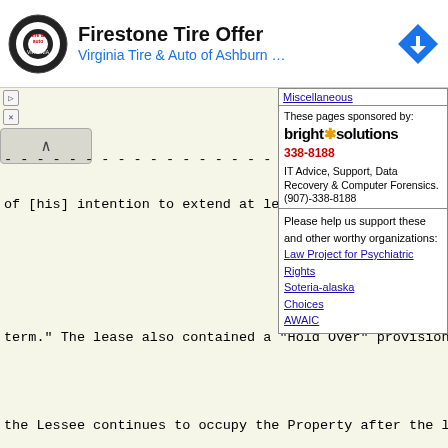[Figure (screenshot): Advertisement banner for Firestone Tire Offer by Virginia Tire & Auto of Ashburn, with circular tire logo on left and blue navigation icon on right]
Miscellaneous
These pages sponsored by:
bright solutions 338-8188
IT Advice, Support, Data Recovery & Computer Forensics.
(907)-338-8188
Please help us support these and other worthy organizations:
Law Project for Psychiatric Rights
Soteria-alaska
Choices
AWAIC
- - - - - - - - - - - - - - - - - - - - - - - - - - Page 3- - - - - - - - - - - - - - - - - - - -
of [his] intention to extend at least                  erty  (90) days p
term."  The lease also contained a "Hold Over" provision,
the Lessee continues to occupy the Property after the las